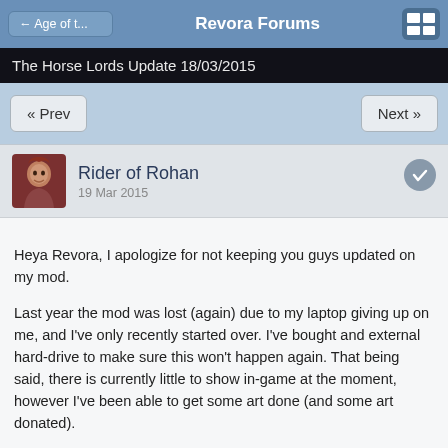Revora Forums
The Horse Lords Update 18/03/2015
« Prev   Next »
Rider of Rohan
19 Mar 2015
Heya Revora, I apologize for not keeping you guys updated on my mod.
Last year the mod was lost (again) due to my laptop giving up on me, and I've only recently started over. I've bought and external hard-drive to make sure this won't happen again. That being said, there is currently little to show in-game at the moment, however I've been able to get some art done (and some art donated).
Here are the factions you can expect to see in the alpha (I know I know, no Rohan, I promise it will come later)
Spoiler  Show
Valaquenta  has been kind enough to let us use his Erebor Models, saving me much time with the Erebor faction!